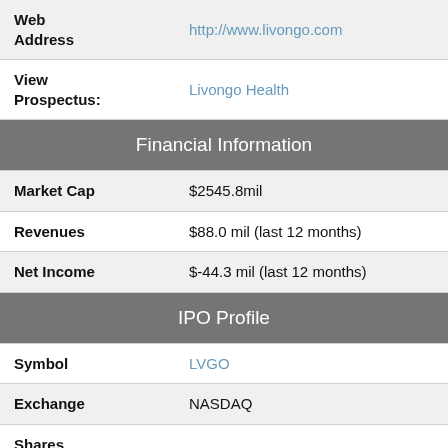| Field | Value |
| --- | --- |
| Web Address | http://www.livongo.com |
| View Prospectus: | Livongo Health |
| Financial Information |  |
| Market Cap | $2545.8mil |
| Revenues | $88.0 mil (last 12 months) |
| Net Income | $-44.3 mil (last 12 months) |
| IPO Profile |  |
| Symbol | LVGO |
| Exchange | NASDAQ |
| Shares (millions): | 12.7 |
| Price range | $28.00 - $28.00 |